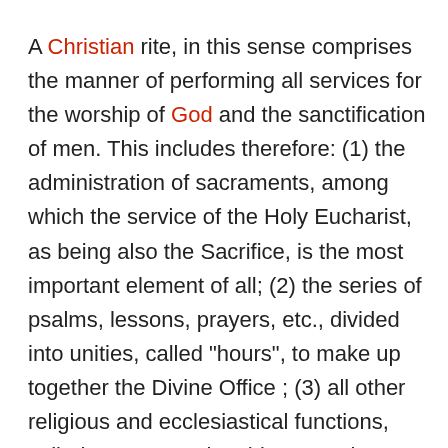A Christian rite, in this sense comprises the manner of performing all services for the worship of God and the sanctification of men. This includes therefore: (1) the administration of sacraments, among which the service of the Holy Eucharist, as being also the Sacrifice, is the most important element of all; (2) the series of psalms, lessons, prayers, etc., divided into unities, called "hours", to make up together the Divine Office ; (3) all other religious and ecclesiastical functions, called sacramentals. This general term includes blessings of persons (such as a coronation, the blessing of an abbot, various ceremonies performed for catechumens, the